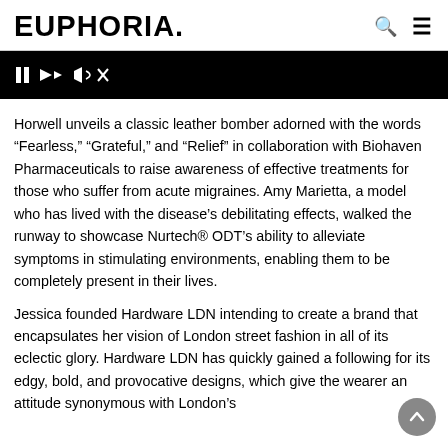EUPHORIA.
[Figure (screenshot): Black video player bar with pause/forward/audio control icons on white background]
Horwell unveils a classic leather bomber adorned with the words “Fearless,” “Grateful,” and “Relief” in collaboration with Biohaven Pharmaceuticals to raise awareness of effective treatments for those who suffer from acute migraines. Amy Marietta, a model who has lived with the disease’s debilitating effects, walked the runway to showcase Nurtech® ODT’s ability to alleviate symptoms in stimulating environments, enabling them to be completely present in their lives.
Jessica founded Hardware LDN intending to create a brand that encapsulates her vision of London street fashion in all of its eclectic glory. Hardware LDN has quickly gained a following for its edgy, bold, and provocative designs, which give the wearer an attitude synonymous with London’s